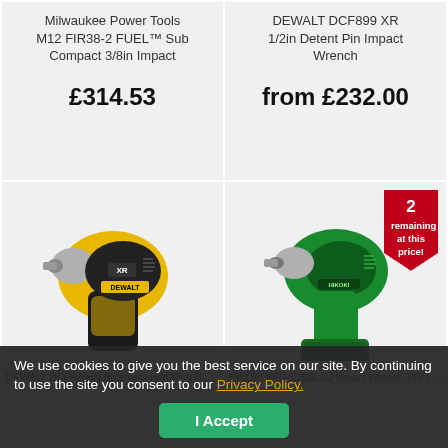Milwaukee Power Tools M12 FIR38-2 FUEL™ Sub Compact 3/8in Impact
£314.53
DEWALT DCF899 XR 1/2in Detent Pin Impact Wrench
from £232.00
[Figure (photo): DEWALT XR yellow and black impact wrench power tool]
[Figure (photo): Hitachi green cordless impact wrench power tool with red badge showing '2 remaining at this price!']
We use cookies to give you the best service on our site. By continuing to use the site you consent to our Privacy Policy.
I Accept
DEWALT DCF899HN Brushless Hog Ring H... Torque Impact Wrench
HIKOKI WR18DSDL/JJ Impact Wrench 18V 2 x 5.0Ah Li-ion